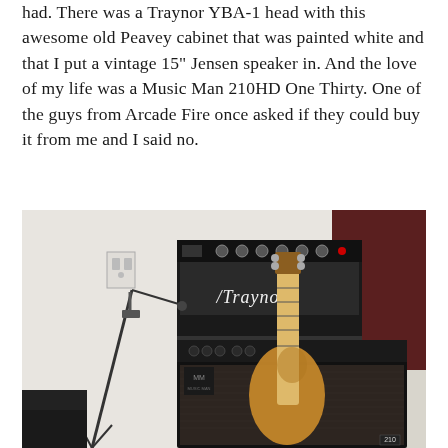had. There was a Traynor YBA-1 head with this awesome old Peavey cabinet that was painted white and that I put a vintage 15" Jensen speaker in. And the love of my life was a Music Man 210HD One Thirty. One of the guys from Arcade Fire once asked if they could buy it from me and I said no.
[Figure (photo): Photo of a Traynor amplifier head stacked on top of a Music Man 210 combo amplifier. A bass guitar (Fender-style with maple neck) leans against the stack. A microphone stand is visible on the left side. The background shows a white wall with an electrical outlet and a dark red/maroon wall on the right. The Music Man logo and '210' badge are visible on the amp.]